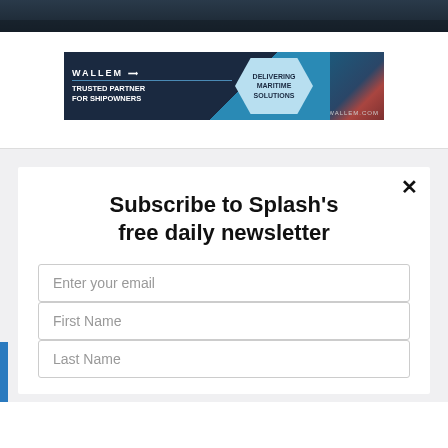[Figure (photo): Dark blue/navy banner image at top of page, appears to be a maritime/ocean scene]
[Figure (other): Wallem advertisement banner: 'WALLEM - TRUSTED PARTNER FOR SHIPOWNERS' with hexagonal shape reading 'DELIVERING MARITIME SOLUTIONS' and www.wallem.com URL]
Subscribe to Splash's free daily newsletter
Enter your email
First Name
Last Name